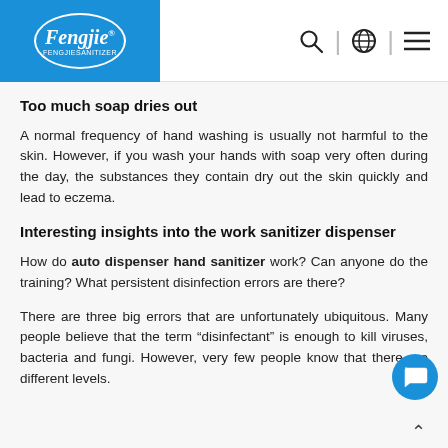Fengjie [logo with globe, search, and menu icons]
Too much soap dries out
A normal frequency of hand washing is usually not harmful to the skin. However, if you wash your hands with soap very often during the day, the substances they contain dry out the skin quickly and lead to eczema.
Interesting insights into the work sanitizer dispenser
How do auto dispenser hand sanitizer work? Can anyone do the training? What persistent disinfection errors are there?
There are three big errors that are unfortunately ubiquitous. Many people believe that the term “disinfectant” is enough to kill viruses, bacteria and fungi. However, very few people know that there are different levels.